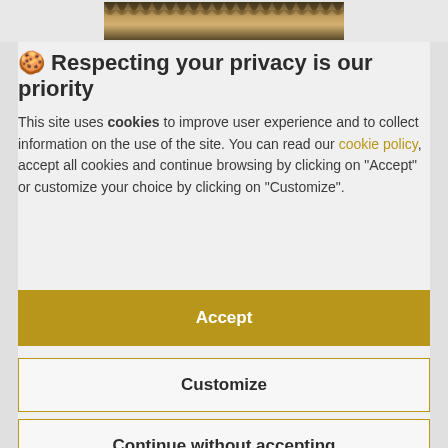[Figure (photo): Top banner image showing a row of pencils or spiky texture in brown/tan tones]
🍪 Respecting your privacy is our priority
This site uses cookies to improve user experience and to collect information on the use of the site. You can read our cookie policy, accept all cookies and continue browsing by clicking on "Accept" or customize your choice by clicking on "Customize".
Accept
Customize
Continue without accepting